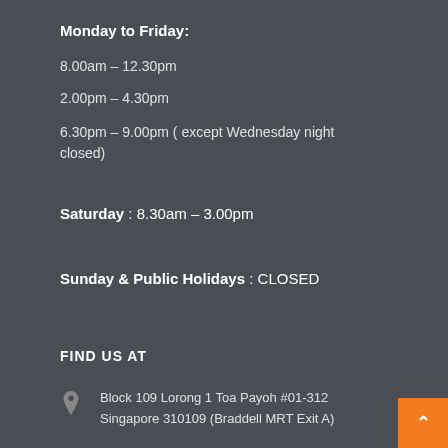Monday to Friday:
8.00am – 12.30pm
2.00pm – 4.30pm
6.30pm – 9.00pm ( except Wednesday night closed)
Saturday : 8.30am – 3.00pm
Sunday & Public Holidays : CLOSED
FIND US AT
Block 109 Lorong 1 Toa Payoh #01-312 Singapore 310109 (Braddell MRT Exit A)
+65 6252 7473
info@limclinicandsurgery.com